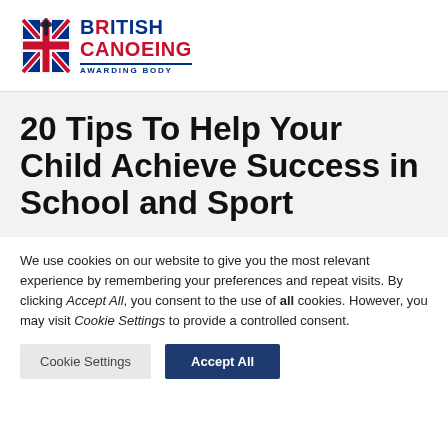[Figure (logo): British Canoeing Awarding Body logo with Union Jack emblem on the left and text BRITISH CANOEING AWARDING BODY on the right]
20 Tips To Help Your Child Achieve Success in School and Sport
We use cookies on our website to give you the most relevant experience by remembering your preferences and repeat visits. By clicking Accept All, you consent to the use of all cookies. However, you may visit Cookie Settings to provide a controlled consent.
Cookie Settings | Accept All